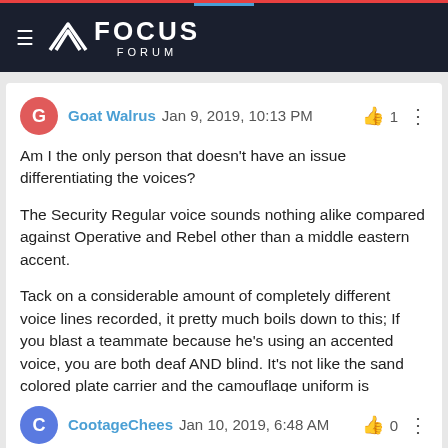FOCUS FORUM
Goat Walrus Jan 9, 2019, 10:13 PM — 1 like
Am I the only person that doesn't have an issue differentiating the voices?

The Security Regular voice sounds nothing alike compared against Operative and Rebel other than a middle eastern accent.

Tack on a considerable amount of completely different voice lines recorded, it pretty much boils down to this; If you blast a teammate because he's using an accented voice, you are both deaf AND blind. It's not like the sand colored plate carrier and the camouflage uniform is confusing against Insurgent clothing.
CootageChees Jan 10, 2019, 6:48 AM — 0 likes